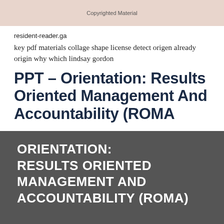Copyrighted Material
resident-reader.ga
key pdf materials collage shape license detect origen already origin why which lindsay gordon
PPT – Orientation: Results Oriented Management And Accountability (ROMA
[Figure (other): Dark gray banner with white uppercase text reading ORIENTATION: RESULTS ORIENTED MANAGEMENT AND ACCOUNTABILITY (ROMA)]